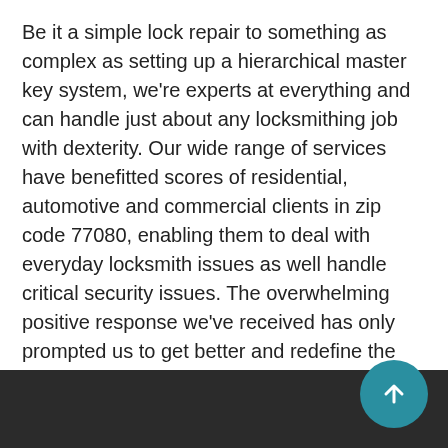Be it a simple lock repair to something as complex as setting up a hierarchical master key system, we're experts at everything and can handle just about any locksmithing job with dexterity. Our wide range of services have benefitted scores of residential, automotive and commercial clients in zip code 77080, enabling them to deal with everyday locksmith issues as well handle critical security issues. The overwhelming positive response we've received has only prompted us to get better and redefine the standards of excellence.
If you need the best, then you don't have to look beyond us. Reach out to us on 281-670-2357 to avail our services and you'll know why we're hailed the number one locksmith service company in the area.